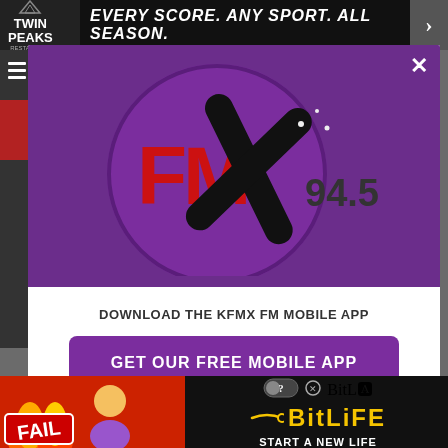[Figure (screenshot): Top advertisement banner with Twin Peaks logo and text 'EVERY SCORE. ANY SPORT. ALL SEASON.']
[Figure (logo): FMX 94.5 radio station logo on purple background circle with close (X) button]
DOWNLOAD THE KFMX FM MOBILE APP
GET OUR FREE MOBILE APP
Also listen on: amazon alexa
[Figure (screenshot): BitLife mobile game advertisement banner with FAIL text and 'START A NEW LIFE' tagline]